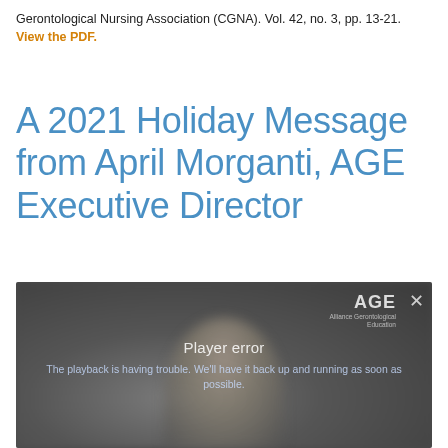Gerontological Nursing Association (CGNA). Vol. 42, no. 3, pp. 13-21. View the PDF.
A 2021 Holiday Message from April Morganti, AGE Executive Director
[Figure (screenshot): Video player showing a blurred image of a person. An error overlay reads 'Player error' with subtext 'The playback is having trouble. We'll have it back up and running as soon as possible.' The AGE logo and a close (X) button appear in the top-right corner.]